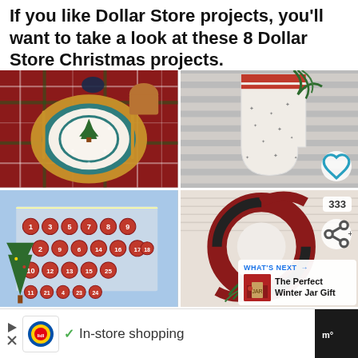If you like Dollar Store projects, you'll want to take a look at these 8 Dollar Store Christmas projects.
[Figure (photo): Christmas table setting with plaid tablecloth, gold charger plate, Spode Christmas tree bowl, gold flatware, and copper mug]
[Figure (photo): White Christmas stocking with small star embellishments and red stripe at top, with pine greenery, on wooden background. Heart/favorite button overlay.]
[Figure (photo): Advent calendar with numbered ornaments hanging on a wall, with a decorated Christmas tree nearby]
[Figure (photo): Red and black buffalo plaid Christmas wreath with white fur accent and pine branches. 333 share count and share button overlay. 'What's Next' card showing 'The Perfect Winter Jar Gift']
In-store shopping
[Figure (logo): Lidl logo in yellow and blue]